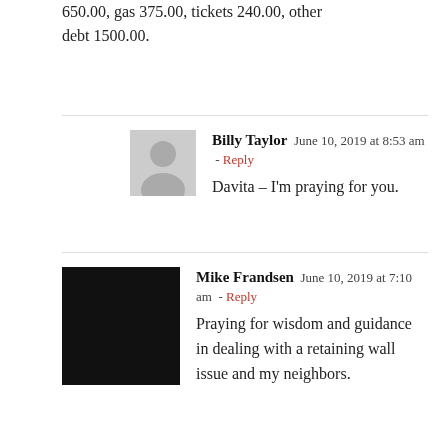650.00, gas 375.00, tickets 240.00, other debt 1500.00.
Billy Taylor  June 10, 2019 at 8:53 am - Reply
Davita – I'm praying for you.
Mike Frandsen  June 10, 2019 at 7:10 am - Reply
Praying for wisdom and guidance in dealing with a retaining wall issue and my neighbors.
Billy Taylor  June 10, 2019 at 8:53 am - Reply
Mike, I'm agreeing with you in prayer.